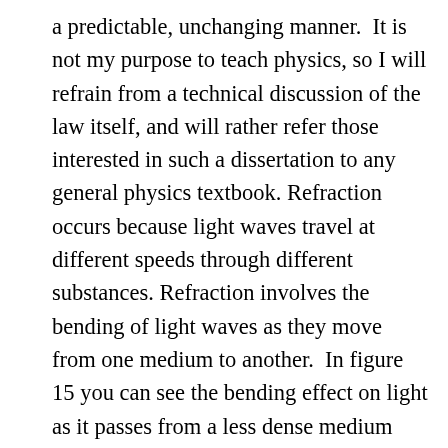a predictable, unchanging manner.  It is not my purpose to teach physics, so I will refrain from a technical discussion of the law itself, and will rather refer those interested in such a dissertation to any general physics textbook.  Refraction occurs because light waves travel at different speeds through different substances.  Refraction involves the bending of light waves as they move from one medium to another.  In figure 15 you can see the bending effect on light as it passes from a less dense medium (air) into a denser medium (water).  If you want to see this bending of light in action, drop a pencil and a coin into a glass about three-fourths full of water.  The pencil will appear to be broken at the water surface, and the coin